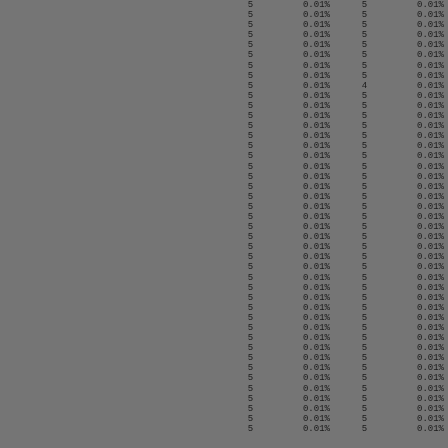| col1 | col2 | col3 | col4 |
| --- | --- | --- | --- |
| 5 | 0.01% | 5 | 0.01% |
| 5 | 0.01% | 5 | 0.01% |
| 5 | 0.01% | 5 | 0.01% |
| 5 | 0.01% | 5 | 0.01% |
| 5 | 0.01% | 5 | 0.01% |
| 5 | 0.01% | 5 | 0.01% |
| 5 | 0.01% | 5 | 0.01% |
| 5 | 0.01% | 5 | 0.01% |
| 5 | 0.01% | 4 | 0.01% |
| 5 | 0.01% | 5 | 0.01% |
| 5 | 0.01% | 5 | 0.01% |
| 5 | 0.01% | 5 | 0.01% |
| 5 | 0.01% | 5 | 0.01% |
| 5 | 0.01% | 5 | 0.01% |
| 5 | 0.01% | 5 | 0.01% |
| 5 | 0.01% | 5 | 0.01% |
| 5 | 0.01% | 5 | 0.01% |
| 5 | 0.01% | 5 | 0.01% |
| 5 | 0.01% | 5 | 0.01% |
| 5 | 0.01% | 5 | 0.01% |
| 5 | 0.01% | 5 | 0.01% |
| 5 | 0.01% | 5 | 0.01% |
| 5 | 0.01% | 5 | 0.01% |
| 5 | 0.01% | 5 | 0.01% |
| 5 | 0.01% | 5 | 0.01% |
| 5 | 0.01% | 5 | 0.01% |
| 5 | 0.01% | 5 | 0.01% |
| 5 | 0.01% | 5 | 0.01% |
| 5 | 0.01% | 5 | 0.01% |
| 5 | 0.01% | 5 | 0.01% |
| 5 | 0.01% | 5 | 0.01% |
| 5 | 0.01% | 5 | 0.01% |
| 5 | 0.01% | 5 | 0.01% |
| 5 | 0.01% | 5 | 0.01% |
| 5 | 0.01% | 5 | 0.01% |
| 5 | 0.01% | 5 | 0.01% |
| 5 | 0.01% | 5 | 0.01% |
| 5 | 0.01% | 5 | 0.01% |
| 5 | 0.01% | 5 | 0.01% |
| 5 | 0.01% | 5 | 0.01% |
| 5 | 0.01% | 5 | 0.01% |
| 5 | 0.01% | 5 | 0.01% |
| 5 | 0.01% | 5 | 0.01% |